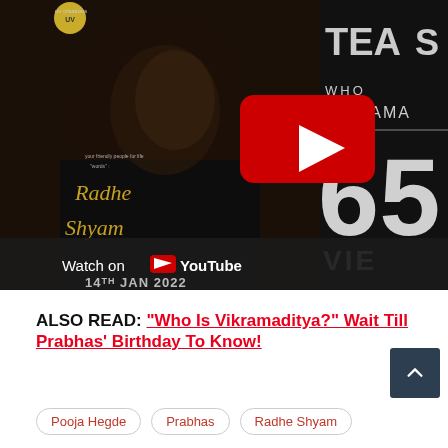[Figure (screenshot): YouTube video thumbnail for Radhe Shyam movie teaser showing actor Prabhas in dark moody lighting with 'Radhe Shyam' text, YouTube play button overlay, 'Watch on YouTube' watermark, date '14th Jan 2022', and partially visible text 'TEASER', 'VIKRAMA', '65 VIE' on right side]
ALSO READ: "Who Is Vikramaditya?" Wait Till Prabhas' Birthday To Know!
Pooja Hegde
Prabhas
Radhe Shyam